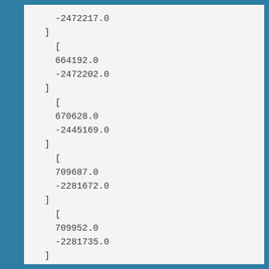-2472217.0
]
  [
  664192.0
  -2472202.0
  ]
  [
  670628.0
  -2445169.0
  ]
  [
  709687.0
  -2281672.0
  ]
  [
  709952.0
  -2281735.0
  ]
  [